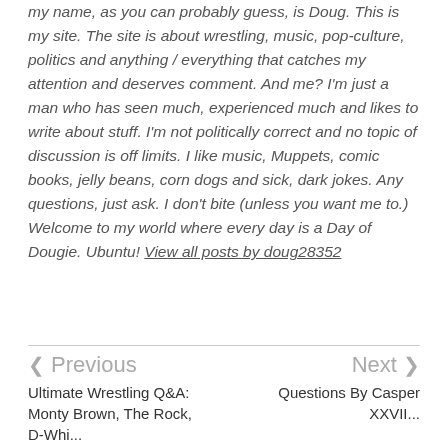my name, as you can probably guess, is Doug. This is my site. The site is about wrestling, music, pop-culture, politics and anything / everything that catches my attention and deserves comment. And me? I'm just a man who has seen much, experienced much and likes to write about stuff. I'm not politically correct and no topic of discussion is off limits. I like music, Muppets, comic books, jelly beans, corn dogs and sick, dark jokes. Any questions, just ask. I don't bite (unless you want me to.) Welcome to my world where every day is a Day of Dougie. Ubuntu! View all posts by doug28352
< Previous
Ultimate Wrestling Q&A: Monty Brown, The Rock, D-Whi... and & Mo...
Next >
Questions By Casper XXVII...